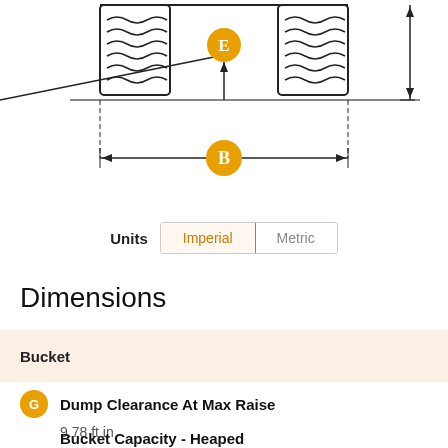[Figure (engineering-diagram): Technical dimension diagram showing a roller/bucket assembly with dimension labels E and B. Label E (orange circle) points to the space between two rollers/components. Label B (orange circle) indicates the overall width with a horizontal double-headed arrow. Vertical arrows show height/clearance dimensions.]
Units   Imperial   Metric
Dimensions
Bucket
G  Dump Clearance At Max Raise
9.78 ft in
Bucket Capacity - Heaped